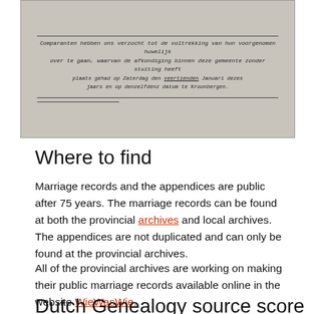[Figure (photo): A scanned historical Dutch marriage record document showing handwritten cursive text in old Dutch language, with printed and handwritten lines.]
Where to find
Marriage records and the appendices are public after 75 years. The marriage records can be found at both the provincial archives and local archives. The appendices are not duplicated and can only be found at the provincial archives.
All of the provincial archives are working on making their public marriage records available online in the website WieWasWie.
Dutch Genealogy source score